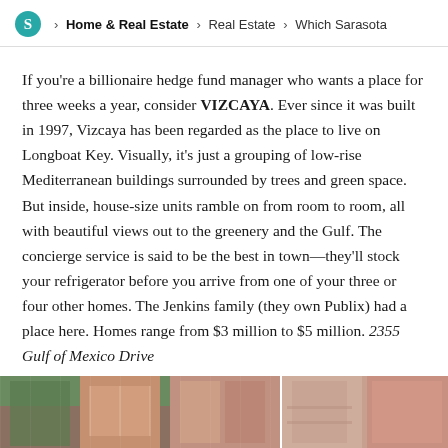Home & Real Estate > Real Estate > Which Sarasota
If you're a billionaire hedge fund manager who wants a place for three weeks a year, consider VIZCAYA. Ever since it was built in 1997, Vizcaya has been regarded as the place to live on Longboat Key. Visually, it's just a grouping of low-rise Mediterranean buildings surrounded by trees and green space. But inside, house-size units ramble on from room to room, all with beautiful views out to the greenery and the Gulf. The concierge service is said to be the best in town—they'll stock your refrigerator before you arrive from one of your three or four other homes. The Jenkins family (they own Publix) had a place here. Homes range from $3 million to $5 million. 2355 Gulf of Mexico Drive
[Figure (photo): Two photographs of Mediterranean-style building facades, showing exterior architecture with tropical greenery and pink/terracotta colored walls.]